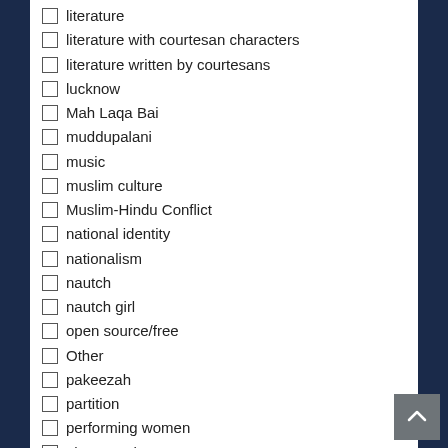literature
literature with courtesan characters
literature written by courtesans
lucknow
Mah Laqa Bai
muddupalani
music
muslim culture
Muslim-Hindu Conflict
national identity
nationalism
nautch
nautch girl
open source/free
Other
pakeezah
partition
performing women
photography
piro
podcasts
poetry